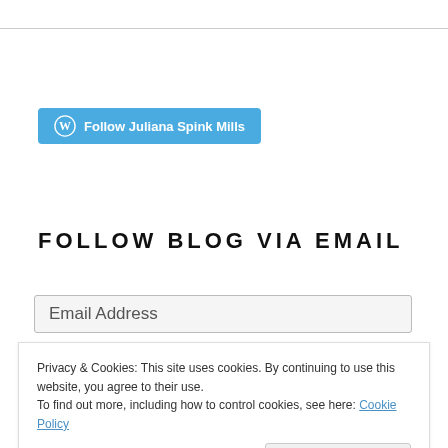[Figure (other): WordPress follow button: blue rounded rectangle with WordPress logo icon and text 'Follow Juliana Spink Mills']
FOLLOW BLOG VIA EMAIL
Email Address
Privacy & Cookies: This site uses cookies. By continuing to use this website, you agree to their use.
To find out more, including how to control cookies, see here: Cookie Policy
Close and accept